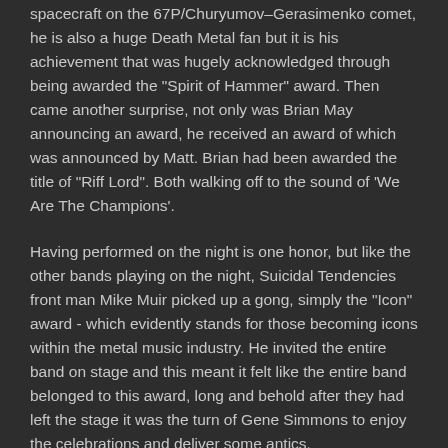spacecraft on the 67P/Churyumov–Gerasimenko comet, he is also a huge Death Metal fan but it is his achievement that was hugely acknowledged through being awarded the "Spirit of Hammer" award. Then came another surprise, not only was Brian May announcing an award, he received an award of which was announced by Matt. Brian had been awarded the title of "Riff Lord". Both walking off to the sound of 'We Are The Champions'.
Having performed on the night is one honor, but like the other bands playing on the night, Suicidal Tendencies front man Mike Muir picked up a gong, simply the "Icon" award - which evidently stands for those becoming icons within the metal music industry. He invited the entire band on stage and this meant it felt like the entire band belonged to this award, long and behold after they had left the stage it was the turn of Gene Simmons to enjoy the celebrations and deliver some antics.
Gene certainly thought Scott looked dapper wearing his sunglasses and I have to agree, so Scott next time Anthrax play Bloodstock, please wear those sunglasses, please? Of course tonight was about being dapper, smart and celebrating metal, so